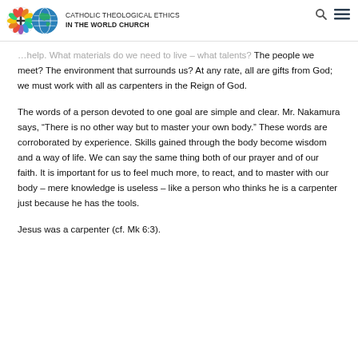CATHOLIC THEOLOGICAL ETHICS IN THE WORLD CHURCH
...help. What materials do we need to live – what talents? The people we meet? The environment that surrounds us? At any rate, all are gifts from God; we must work with all as carpenters in the Reign of God.
The words of a person devoted to one goal are simple and clear. Mr. Nakamura says, “There is no other way but to master your own body.” These words are corroborated by experience. Skills gained through the body become wisdom and a way of life. We can say the same thing both of our prayer and of our faith. It is important for us to feel much more, to react, and to master with our body – mere knowledge is useless – like a person who thinks he is a carpenter just because he has the tools.
Jesus was a carpenter (cf. Mk 6:3).